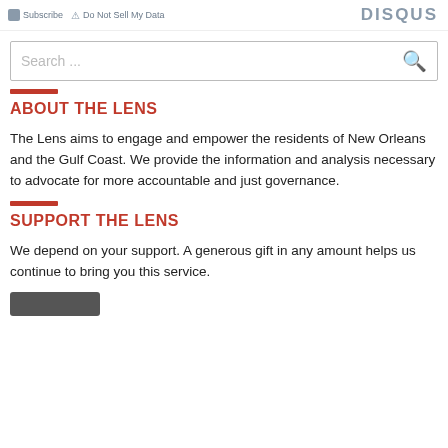Subscribe  Do Not Sell My Data  DISQUS
Search ...
ABOUT THE LENS
The Lens aims to engage and empower the residents of New Orleans and the Gulf Coast. We provide the information and analysis necessary to advocate for more accountable and just governance.
SUPPORT THE LENS
We depend on your support. A generous gift in any amount helps us continue to bring you this service.